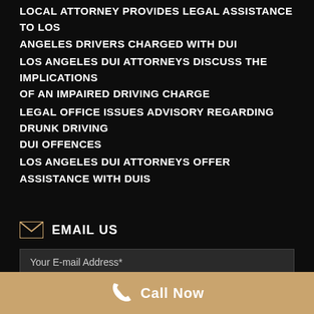LOCAL ATTORNEY PROVIDES LEGAL ASSISTANCE TO LOS ANGELES DRIVERS CHARGED WITH DUI
LOS ANGELES DUI ATTORNEYS DISCUSS THE IMPLICATIONS OF AN IMPAIRED DRIVING CHARGE
LEGAL OFFICE ISSUES ADVISORY REGARDING DRUNK DRIVING DUI OFFENCES
LOS ANGELES DUI ATTORNEYS OFFER ASSISTANCE WITH DUIS
EMAIL US
Your E-mail Address*
Your Telephone Number*
Call Now